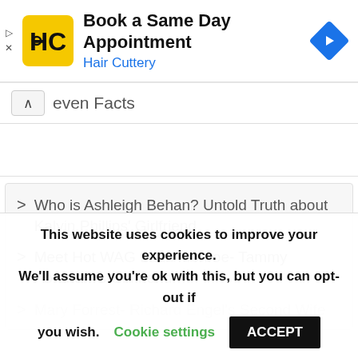[Figure (screenshot): Hair Cuttery advertisement banner with logo, title 'Book a Same Day Appointment', subtitle 'Hair Cuttery', and a blue navigation arrow icon on the right. Play and close controls on the left.]
Seven Facts
Who is Ashleigh Behan? Untold Truth about Kalvin Phillips' Girlfriend
Meet Hot WAG Leah Monroe- Tammy Abraham's Girlfriend
Mary Forrest- Richard Engel's Second Wife
This website uses cookies to improve your experience. We'll assume you're ok with this, but you can opt-out if you wish. Cookie settings ACCEPT